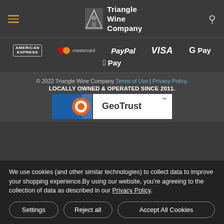[Figure (logo): Triangle Wine Company logo with hamburger menu and search icon in dark header bar]
[Figure (infographic): Payment method logos: American Express, Mastercard, PayPal, VISA, G Pay, Apple Pay on dark background]
© 2022 Triangle Wine Company Terms of Use | Privacy Policy. LOCALLY OWNED & OPERATED SINCE 2011.
[Figure (logo): GeoTrust security badge partially visible]
We use cookies (and other similar technologies) to collect data to improve your shopping experience.By using our website, you're agreeing to the collection of data as described in our Privacy Policy.
Settings | Reject all | Accept All Cookies